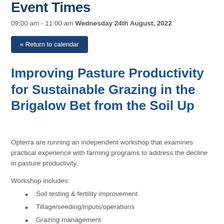Event Times
09:00 am - 11:00 am Wednesday 24th August, 2022
« Return to calendar
Improving Pasture Productivity for Sustainable Grazing in the Brigalow Bet from the Soil Up
Opterra are running an independent workshop that examines practical experience with farming programs to address the decline in pasture productivity.
Workshop includes:
Soil testing & fertility improvement
Tillage/seeding/inputs/operations
Grazing management